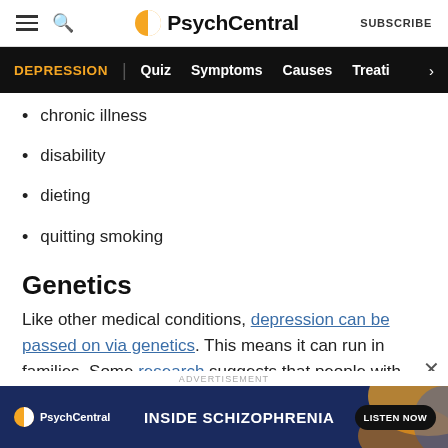PsychCentral — SUBSCRIBE
DEPRESSION | Quiz Symptoms Causes Treati >
chronic illness
disability
dieting
quitting smoking
Genetics
Like other medical conditions, depression can be passed on via genetics. This means it can run in families. Some research suggests that people with
[Figure (screenshot): PsychCentral advertisement banner for Inside Schizophrenia podcast with Listen Now button]